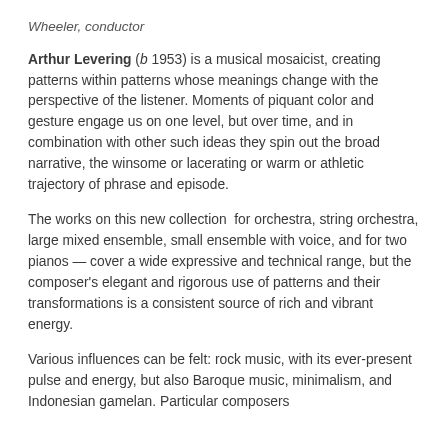Wheeler, conductor
Arthur Levering (b 1953) is a musical mosaicist, creating patterns within patterns whose meanings change with the perspective of the listener. Moments of piquant color and gesture engage us on one level, but over time, and in combination with other such ideas they spin out the broad narrative, the winsome or lacerating or warm or athletic trajectory of phrase and episode.
The works on this new collection  for orchestra, string orchestra, large mixed ensemble, small ensemble with voice, and for two pianos — cover a wide expressive and technical range, but the composer's elegant and rigorous use of patterns and their transformations is a consistent source of rich and vibrant energy.
Various influences can be felt: rock music, with its ever-present pulse and energy, but also Baroque music, minimalism, and Indonesian gamelan. Particular composers